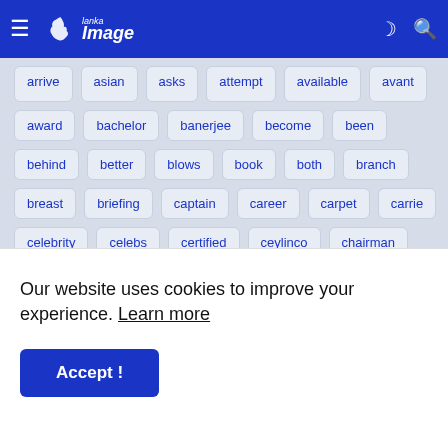Lanka Image - navigation bar
arrive, asian, asks, attempt, available, avant
award, bachelor, banerjee, become, been
behind, better, blows, book, both, branch
breast, briefing, captain, career, carpet, carrie
celebrity, celebs, certified, ceylinco, chairman
chamber, cities, clash, clinches, close, code
commander, commences, commercial, confirms
congratulates, consumers, control, controversy
Our website uses cookies to improve your experience. Learn more
Accept !